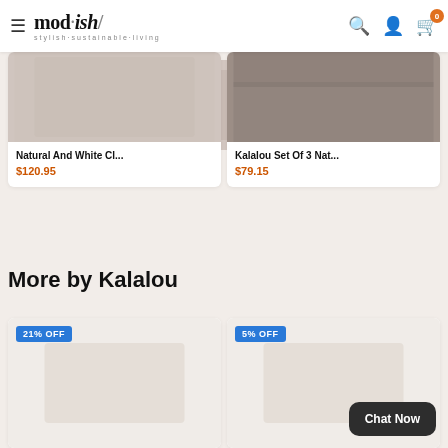mod·ish/ stylish·sustainable·living
Natural And White Cl...
$120.95
Kalalou Set Of 3 Nat...
$79.15
More by Kalalou
21% OFF
5% OFF
Chat Now